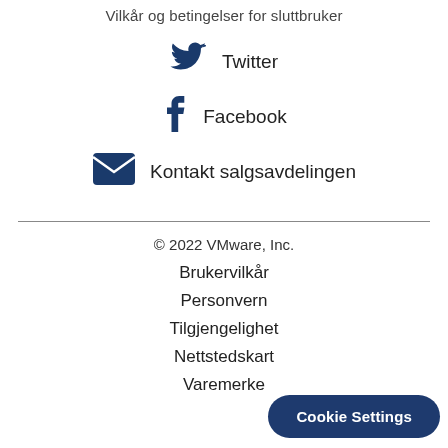Vilkår og betingelser for sluttbruker
[Figure (logo): Twitter bird icon in dark navy blue]
Twitter
[Figure (logo): Facebook 'f' icon in dark navy blue]
Facebook
[Figure (logo): Email envelope icon in dark navy blue]
Kontakt salgsavdelingen
© 2022 VMware, Inc.
Brukervilkår
Personvern
Tilgjengelighet
Nettstedskart
Varemerke
Cookie Settings